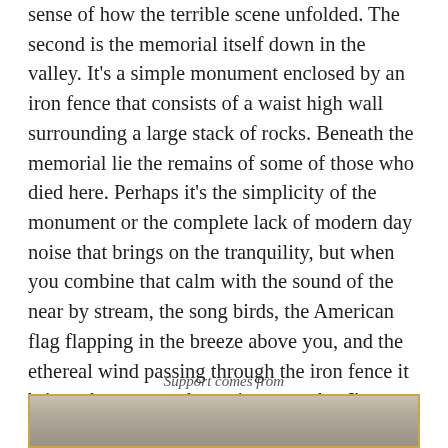sense of how the terrible scene unfolded. The second is the memorial itself down in the valley. It's a simple monument enclosed by an iron fence that consists of a waist high wall surrounding a large stack of rocks. Beneath the memorial lie the remains of some of those who died here. Perhaps it's the simplicity of the monument or the complete lack of modern day noise that brings on the tranquility, but when you combine that calm with the sound of the near by stream, the song birds, the American flag flapping in the breeze above you, and the ethereal wind passing through the iron fence it brings the moment home in a way that I've never experienced at any other monument. . In a uniquely inspiring way it reminds us that the only way to avoid catastrophes like this in the future is to remember the ones committed in the past.
Support comes from
[Figure (photo): Partial image visible at bottom of page, appears to be a photograph, framed with a gold/tan border]